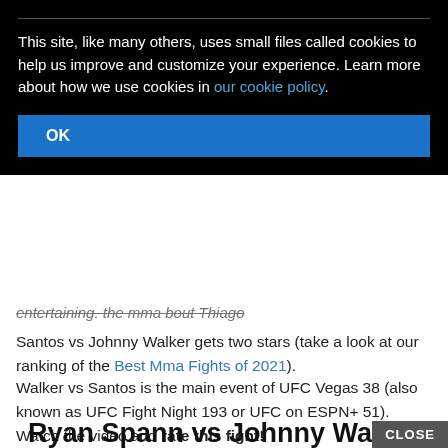This site, like many others, uses small files called cookies to help us improve and customize your experience. Learn more about how we use cookies in our cookie policy.
OK
entertaining. the mma bout Thiago
Santos vs Johnny Walker gets two stars (take a look at our ranking of the Best Mma Fights of 2021).
Walker vs Santos is the main event of UFC Vegas 38 (also known as UFC Fight Night 193 or UFC on ESPN+ 51). Watch the video and rate this fight!
Ryan Spann vs Johnny Walker full fight Video UFC FN 178 – 2020
CLOSE